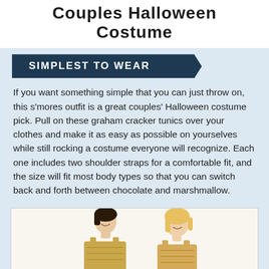Couples Halloween Costume
SIMPLEST TO WEAR
If you want something simple that you can just throw on, this s'mores outfit is a great couples' Halloween costume pick. Pull on these graham cracker tunics over your clothes and make it as easy as possible on yourselves while still rocking a costume everyone will recognize. Each one includes two shoulder straps for a comfortable fit, and the size will fit most body types so that you can switch back and forth between chocolate and marshmallow.
[Figure (photo): Two people wearing s'mores graham cracker tunic costumes, one with dark hair (left) and one blonde (right), smiling.]